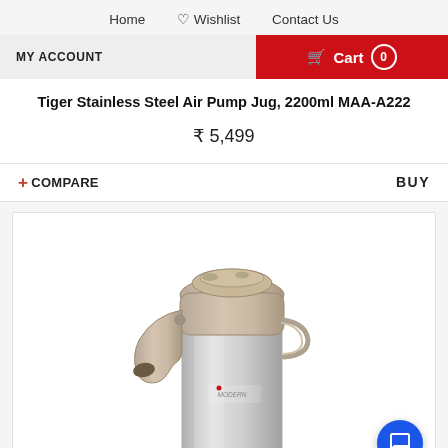Home  Wishlist  Contact Us
MY ACCOUNT
Cart 0
Tiger Stainless Steel Air Pump Jug, 2200ml MAA-A222
₹ 5,499
+ COMPARE
BUY
[Figure (photo): Tiger stainless steel air pump jug product photo showing a silver/grey thermos jug with beige/tan pump top mechanism and MODERN branding on the body]